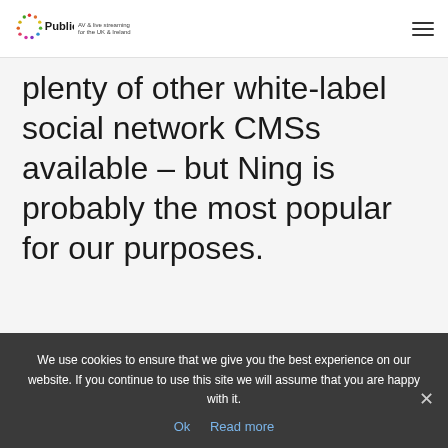Public-i | AV & live streaming for the UK & Ireland
plenty of other white-label social network CMSs available – but Ning is probably the most popular for our purposes.
We use cookies to ensure that we give you the best experience on our website. If you continue to use this site we will assume that you are happy with it.
Ok   Read more